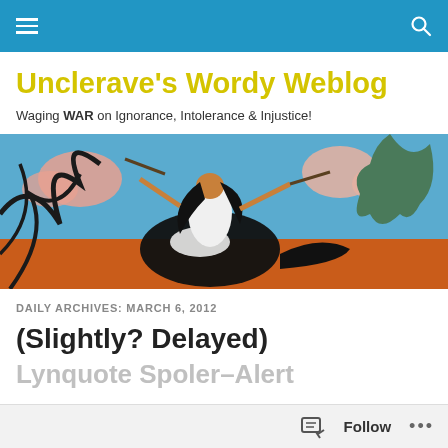Navigation bar with menu and search icons
Unclerave's Wordy Weblog
Waging WAR on Ignorance, Intolerance & Injustice!
[Figure (illustration): A painting of a woman in white riding or wrestling a large dark bird/eagle against a background of colorful trees and blue sky — naive/folk art style.]
DAILY ARCHIVES: MARCH 6, 2012
(Slightly? Delayed)
Lynquote Spoiler–Alert